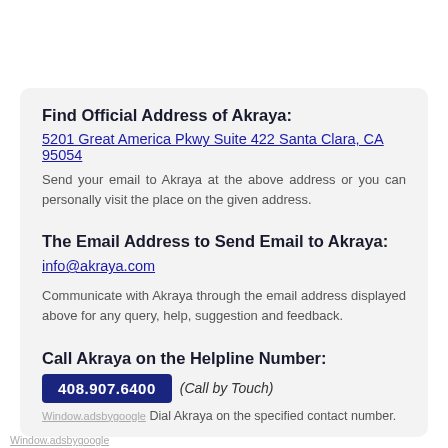Find Official Address of Akraya:
5201 Great America Pkwy Suite 422 Santa Clara, CA 95054
Send your email to Akraya at the above address or you can personally visit the place on the given address.
The Email Address to Send Email to Akraya:
info@akraya.com
Communicate with Akraya through the email address displayed above for any query, help, suggestion and feedback.
Call Akraya on the Helpline Number:
408.907.6400 (Call by Touch)
Window.adsbygoogle Dial Akraya on the specified contact number.
Window.adsbygoogle